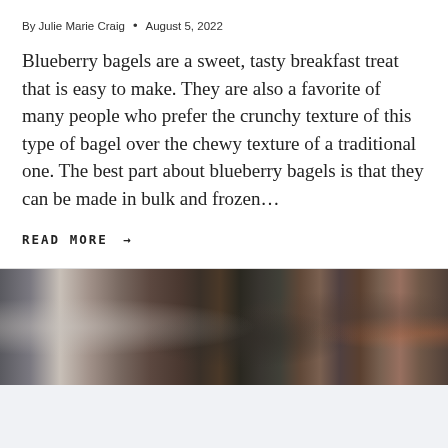By Julie Marie Craig • August 5, 2022
Blueberry bagels are a sweet, tasty breakfast treat that is easy to make. They are also a favorite of many people who prefer the crunchy texture of this type of bagel over the chewy texture of a traditional one. The best part about blueberry bagels is that they can be made in bulk and frozen…
READ MORE →
[Figure (photo): Blurry kitchen scene with dark background, bowls and utensils visible on a wooden surface]